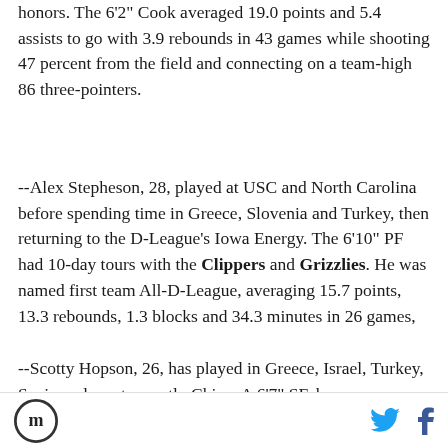honors. The 6'2" Cook averaged 19.0 points and 5.4 assists to go with 3.9 rebounds in 43 games while shooting 47 percent from the field and connecting on a team-high 86 three-pointers.
--Alex Stepheson, 28, played at USC and North Carolina before spending time in Greece, Slovenia and Turkey, then returning to the D-League's Iowa Energy. The 6'10" PF had 10-day tours with the Clippers and Grizzlies. He was named first team All-D-League, averaging 15.7 points, 13.3 rebounds, 1.3 blocks and 34.3 minutes in 26 games,
--Scotty Hopson, 26, has played in Greece, Israel, Turkey, Spain and most recently China. A 6'7" SF, he